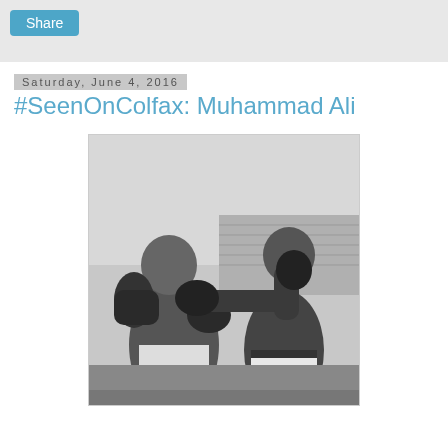Share
Saturday, June 4, 2016
#SeenOnColfax: Muhammad Ali
[Figure (photo): Black and white photograph of Muhammad Ali boxing, throwing a punch at an opponent in what appears to be an outdoor stadium setting.]